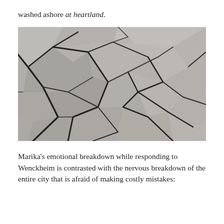washed ashore at heartland.
[Figure (photo): Black and white close-up photograph of cracked, dried earth or mud showing a network of irregular fracture lines across the surface.]
Marika's emotional breakdown while responding to Wenckheim is contrasted with the nervous breakdown of the entire city that is afraid of making costly mistakes: